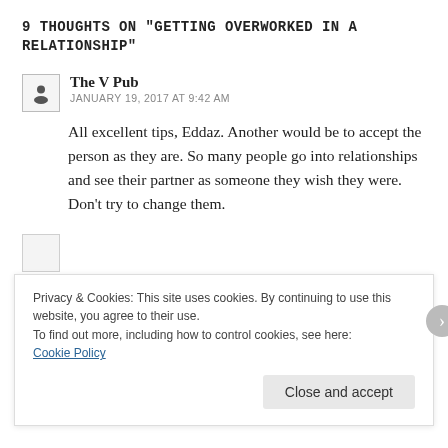9 THOUGHTS ON "GETTING OVERWORKED IN A RELATIONSHIP"
The V Pub
JANUARY 19, 2017 AT 9:42 AM
All excellent tips, Eddaz. Another would be to accept the person as they are. So many people go into relationships and see their partner as someone they wish they were. Don’t try to change them.
Privacy & Cookies: This site uses cookies. By continuing to use this website, you agree to their use.
To find out more, including how to control cookies, see here:
Cookie Policy
Close and accept